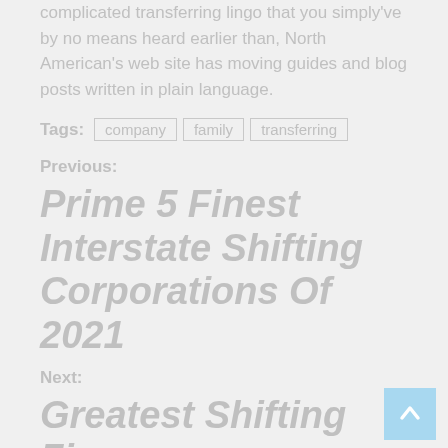American Van Lines Review. Instead of complicated transferring lingo that you simply've by no means heard earlier than, North American's web site has moving guides and blog posts written in plain language.
Tags: company  family  transferring
Previous:
Prime 5 Finest Interstate Shifting Corporations Of 2021
Next:
Greatest Shifting Firms